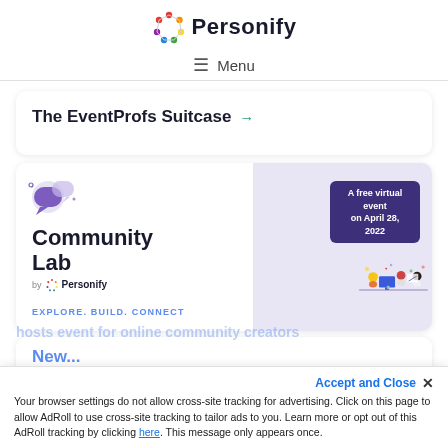[Figure (logo): Personify logo with colorful circular icon and bold brand name text]
☰ Menu
The EventProfs Suitcase →
[Figure (illustration): Community Lab by Personify banner. Text reads: Community Lab by Personify. A free virtual event on April 28, 2022. EXPLORE. BUILD. CONNECT. Illustration of people working at desks on the right side with a purple/lavender background.]
New...
Accept and Close ✕
Your browser settings do not allow cross-site tracking for advertising. Click on this page to allow AdRoll to use cross-site tracking to tailor ads to you. Learn more or opt out of this AdRoll tracking by clicking here. This message only appears once.
hosts event for online community creators